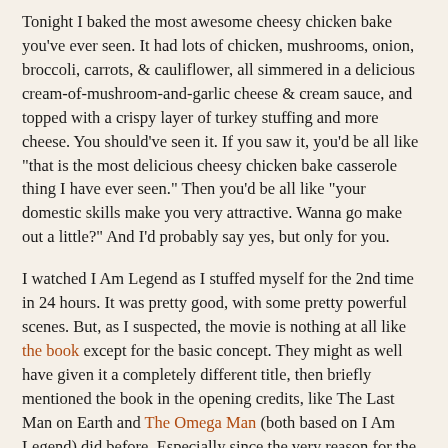Tonight I baked the most awesome cheesy chicken bake you've ever seen. It had lots of chicken, mushrooms, onion, broccoli, carrots, & cauliflower, all simmered in a delicious cream-of-mushroom-and-garlic cheese & cream sauce, and topped with a crispy layer of turkey stuffing and more cheese. You should've seen it. If you saw it, you'd be all like "that is the most delicious cheesy chicken bake casserole thing I have ever seen." Then you'd be all like "your domestic skills make you very attractive. Wanna go make out a little?" And I'd probably say yes, but only for you.
I watched I Am Legend as I stuffed myself for the 2nd time in 24 hours. It was pretty good, with some pretty powerful scenes. But, as I suspected, the movie is nothing at all like the book except for the basic concept. They might as well have given it a completely different title, then briefly mentioned the book in the opening credits, like The Last Man on Earth and The Omega Man (both based on I Am Legend) did before. Especially since the very reason for the title is completely different in the book than it is in the movie's theatrical ending. Speaking of which, don't watch the theatrical ending. It's retarded. The alternate ending, which is on the Blu-ray and special edition DVD, is much better. It actually follows from the rest of the movie...which is always nice in an